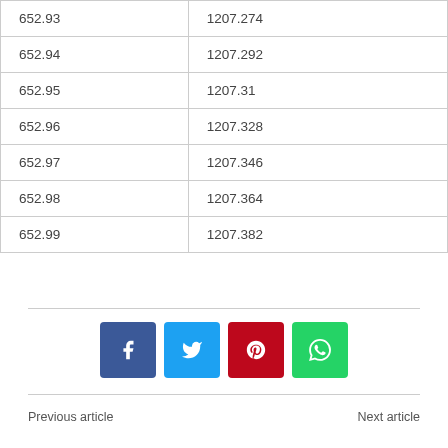| 652.93 | 1207.274 |
| 652.94 | 1207.292 |
| 652.95 | 1207.31 |
| 652.96 | 1207.328 |
| 652.97 | 1207.346 |
| 652.98 | 1207.364 |
| 652.99 | 1207.382 |
Previous article    Next article